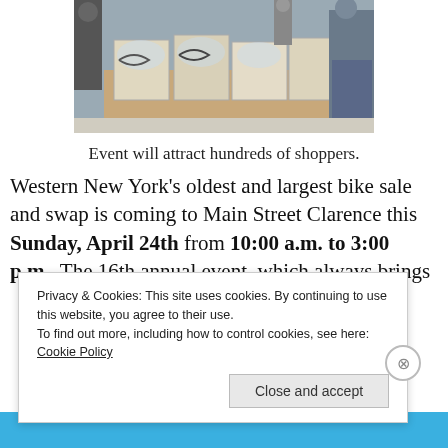[Figure (photo): People browsing items at an indoor bike sale and swap event, with boxes of bicycle parts and accessories on tables.]
Event will attract hundreds of shoppers.
Western New York's oldest and largest bike sale and swap is coming to Main Street Clarence this Sunday, April 24th from 10:00 a.m. to 3:00 p.m.. The 16th annual event, which always brings
Privacy & Cookies: This site uses cookies. By continuing to use this website, you agree to their use.
To find out more, including how to control cookies, see here: Cookie Policy
Close and accept